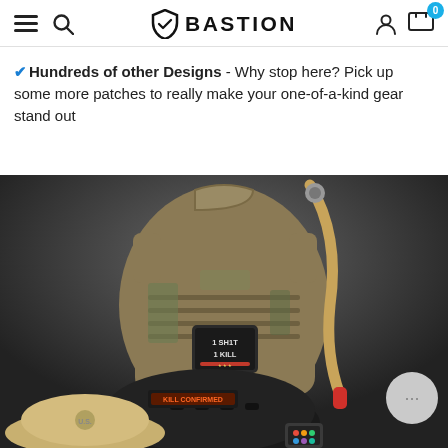BASTION — website header with navigation icons (menu, search, logo, account, cart with 0 badge)
✓ Hundreds of other Designs - Why stop here? Pick up some more patches to really make your one-of-a-kind gear stand out
[Figure (photo): Tactical gear product photo showing a military-style plate carrier vest with MOLLE webbing and patches including '1 SH1T 1 KILL' and 'KILL CONFIRMED', a black helmet, a tan hat, a hydration tube with red bite valve, and various tactical accessories on a dark gray background.]